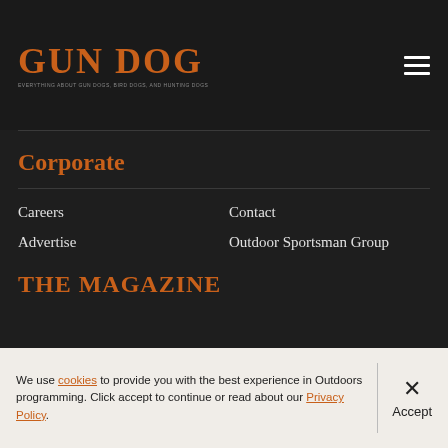GUN DOG
Corporate
Careers
Contact
Advertise
Outdoor Sportsman Group
THE MAGAZINE
We use cookies to provide you with the best experience in Outdoors programming. Click accept to continue or read about our Privacy Policy.